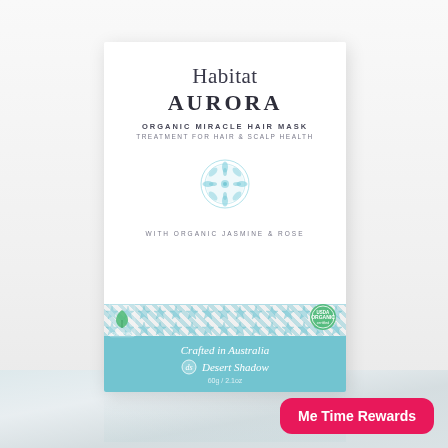[Figure (photo): Product photo of Habitat Aurora Organic Miracle Hair Mask box by Desert Shadow. White box with teal accent band and teal bottom panel. Ornamental teal circle design on white portion. Box sits on a marble surface with reflection. Pink 'Me Time Rewards' badge in bottom right corner.]
Me Time Rewards